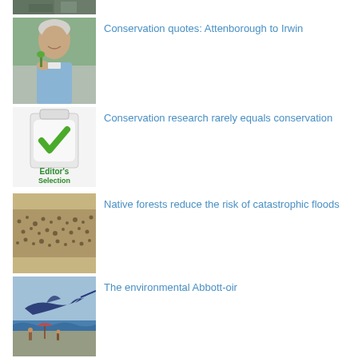[Figure (photo): Partial view of a person or animal photo, cropped at top]
Conservation quotes: Attenborough to Irwin
[Figure (photo): Photo of an elderly man holding a small plant or leaf, smiling]
Conservation research rarely equals conservation
[Figure (illustration): Editor's Selection badge with green checkmark icon and text 'Editor's Selection']
Native forests reduce the risk of catastrophic floods
[Figure (photo): Aerial or landscape photo showing a dense crowd or flock against a sandy/dusty background]
The environmental Abbott-oir
[Figure (illustration): Illustrated scene with a marlin/swordfish and beach/ocean scene with people]